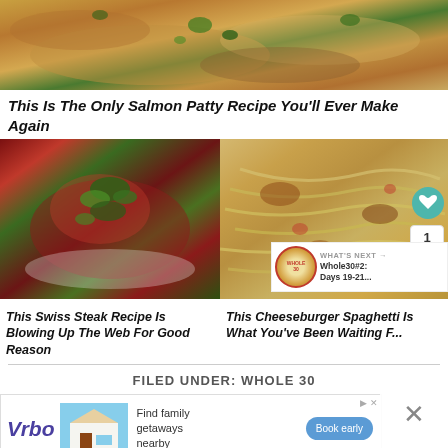[Figure (photo): Close-up photo of golden-brown salmon patties topped with green herbs]
This Is The Only Salmon Patty Recipe You'll Ever Make Again
[Figure (photo): Swiss steak covered in red tomato sauce and topped with fresh green herbs on a white plate]
[Figure (photo): Cheeseburger spaghetti with pasta noodles and meat sauce]
This Swiss Steak Recipe Is Blowing Up The Web For Good Reason
This Cheeseburger Spaghetti Is What You've Been Waiting F...
FILED UNDER: WHOLE 30
[Figure (screenshot): Vrbo advertisement - Find family getaways nearby with Book early button]
WHAT'S NEXT → Whole30#2: Days 19-21...